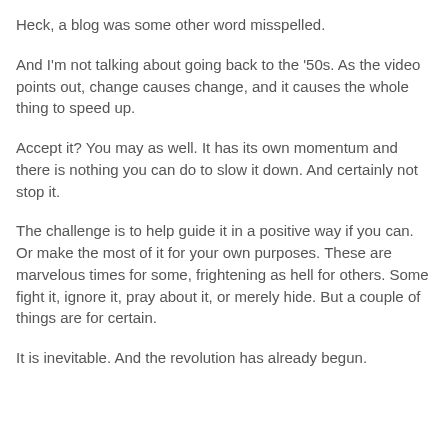Heck, a blog was some other word misspelled.
And I'm not talking about going back to the '50s. As the video points out, change causes change, and it causes the whole thing to speed up.
Accept it? You may as well. It has its own momentum and there is nothing you can do to slow it down. And certainly not stop it.
The challenge is to help guide it in a positive way if you can. Or make the most of it for your own purposes. These are marvelous times for some, frightening as hell for others. Some fight it, ignore it, pray about it, or merely hide. But a couple of things are for certain.
It is inevitable. And the revolution has already begun.